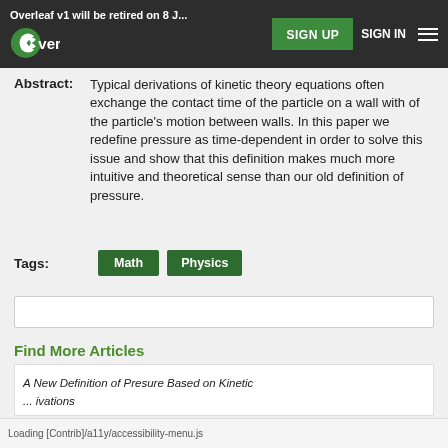Overleaf v1 will be retired on 8 J...  SIGN UP  SIGN IN
Abstract:  Typical derivations of kinetic theory equations often exchange the contact time of the particle on a wall with of the particle's motion between walls. In this paper we redefine pressure as time-dependent in order to solve this issue and show that this definition makes much more intuitive and theoretical sense than our old definition of pressure.
Tags:  Math  Physics
[Figure (other): Search input box]
Find More Articles
[Figure (other): Article card with partial title: A New Definition of Pressure Based on Kinetic ... ivations]
Loading [Contrib]/a11y/accessibility-menu.js